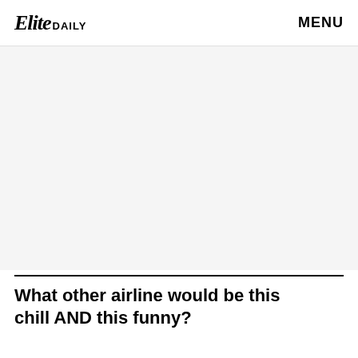Elite DAILY   MENU
[Figure (other): Large light gray rectangular placeholder area below the header]
What other airline would be this chill AND this funny?